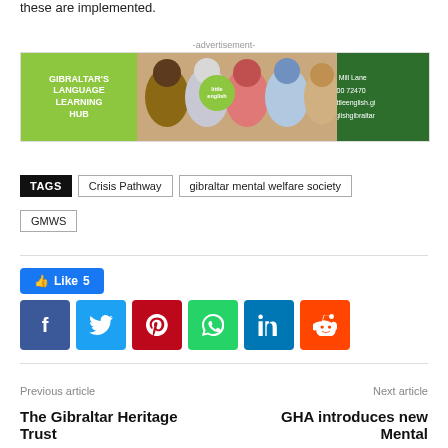these are implemented.
[Figure (illustration): Advertisement banner for Gibraltar's Language Learning Hub (Little English). Green panel on left with white text, group photo in center, dark green panel on right with address and contact details: 29 City Mill Lane, +150 200 72470, info@littleenglish.gi, littleenglishgibraltar.]
TAGS  Crisis Pathway  gibraltar mental welfare society  GMWS
Like 5
[Figure (infographic): Social sharing buttons: Facebook, Twitter, Pinterest, WhatsApp, LinkedIn, Reddit]
Previous article
Next article
The Gibraltar Heritage Trust
GHA introduces new Mental